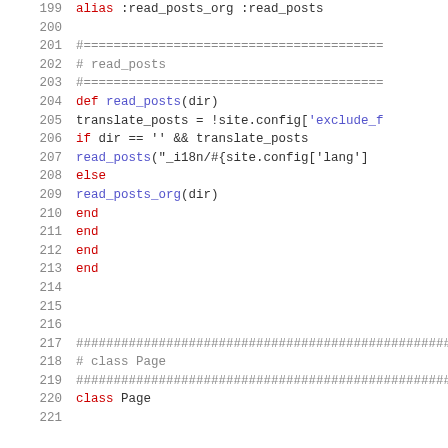[Figure (screenshot): Source code listing in Ruby, lines 199–221, showing alias, read_posts method definition, conditional logic, and class Page definition, displayed with syntax highlighting on white background.]